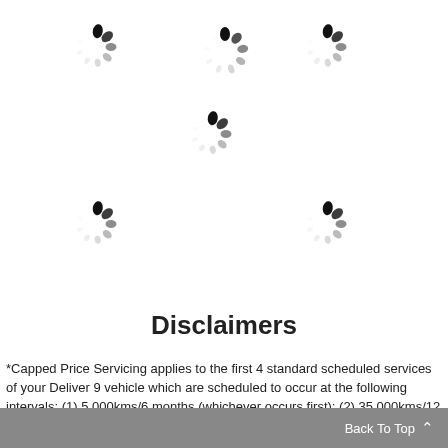[Figure (other): Five loading spinner icons arranged on a white background in two rows plus one center]
Disclaimers
*Capped Price Servicing applies to the first 4 standard scheduled services of your Deliver 9 vehicle which are scheduled to occur at the following intervals: (1) 5,000kms/6 months (whichever occurs first); (2) 35,000kms/12 months (whichever occurs first); (3) 65,000kms/24 months (whichever occurs first); and (4) 95,000kms/36 months (whichever occurs first). Advertised pricing is for
Back To Top ^